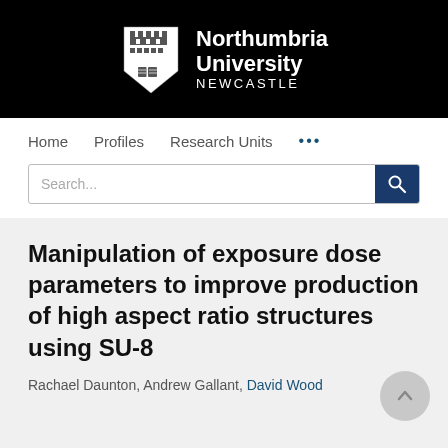[Figure (logo): Northumbria University Newcastle logo on black background with shield emblem]
Home   Profiles   Research Units   ...
[Figure (screenshot): Search bar with search button]
Manipulation of exposure dose parameters to improve production of high aspect ratio structures using SU-8
Rachael Daunton, Andrew Gallant, David Wood